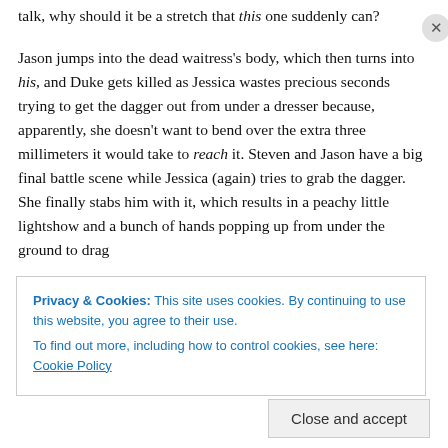talk, why should it be a stretch that this one suddenly can?
Jason jumps into the dead waitress's body, which then turns into his, and Duke gets killed as Jessica wastes precious seconds trying to get the dagger out from under a dresser because, apparently, she doesn't want to bend over the extra three millimeters it would take to reach it. Steven and Jason have a big final battle scene while Jessica (again) tries to grab the dagger. She finally stabs him with it, which results in a peachy little lightshow and a bunch of hands popping up from under the ground to drag him off to hell. A couple of the hands also grab Steven and
Privacy & Cookies: This site uses cookies. By continuing to use this website, you agree to their use.
To find out more, including how to control cookies, see here: Cookie Policy
Close and accept